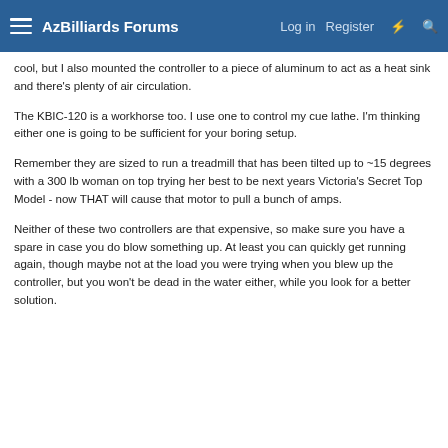AzBilliards Forums — Log in  Register
cool, but I also mounted the controller to a piece of aluminum to act as a heat sink and there's plenty of air circulation.
The KBIC-120 is a workhorse too. I use one to control my cue lathe. I'm thinking either one is going to be sufficient for your boring setup.
Remember they are sized to run a treadmill that has been tilted up to ~15 degrees with a 300 lb woman on top trying her best to be next years Victoria's Secret Top Model - now THAT will cause that motor to pull a bunch of amps.
Neither of these two controllers are that expensive, so make sure you have a spare in case you do blow something up. At least you can quickly get running again, though maybe not at the load you were trying when you blew up the controller, but you won't be dead in the water either, while you look for a better solution.